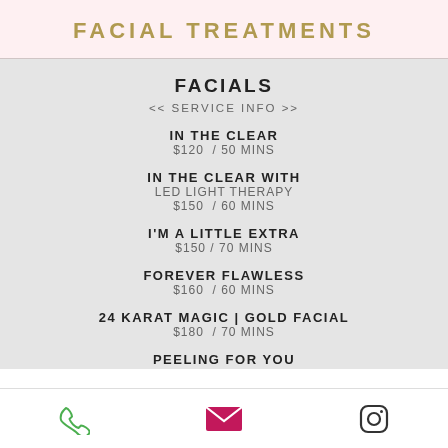FACIAL TREATMENTS
FACIALS
<< SERVICE INFO >>
IN THE CLEAR
$120  / 50 MINS
IN THE CLEAR WITH
LED LIGHT THERAPY
$150  / 60 MINS
I'M A LITTLE EXTRA
$150 / 70 MINS
FOREVER FLAWLESS
$160  / 60 MINS
24 KARAT MAGIC | GOLD FACIAL
$180  / 70 MINS
PEELING FOR YOU
phone | email | instagram